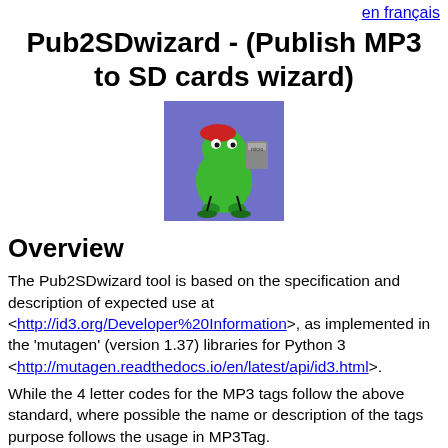en français
Pub2SDwizard - (Publish MP3 to SD cards wizard)
[Figure (illustration): Cartoon illustration of a green frog-like character holding a micro SD card, on a purple/blue background]
Overview
The Pub2SDwizard tool is based on the specification and description of expected use at <http://id3.org/Developer%20Information>, as implemented in the 'mutagen' (version 1.37) libraries for Python 3 <http://mutagen.readthedocs.io/en/latest/api/id3.html>.
While the 4 letter codes for the MP3 tags follow the above standard, where possible the name or description of the tags purpose follows the usage in MP3Tag.
The following web page <http://help.mp3tag.de/main_tags.html> gives a very